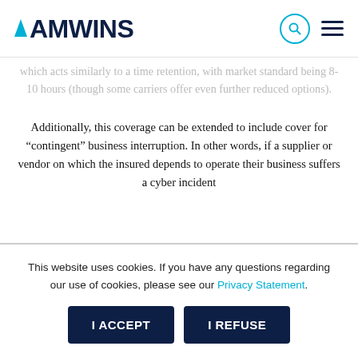AMWINS
which acts similarly to a time retention, with market standard being 8-10 hours (though some carriers offer even further reduced options).
Additionally, this coverage can be extended to include cover for “contingent” business interruption. In other words, if a supplier or vendor on which the insured depends to operate their business suffers a cyber incident
This website uses cookies. If you have any questions regarding our use of cookies, please see our Privacy Statement.
I ACCEPT
I REFUSE